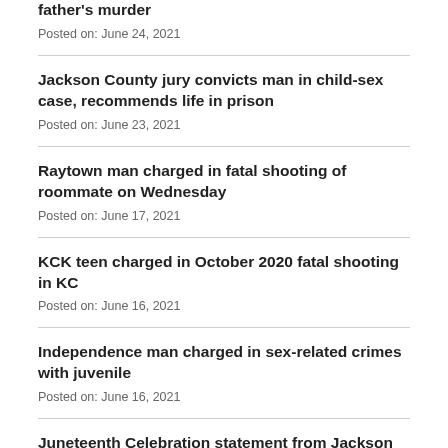father's murder
Posted on: June 24, 2021
Jackson County jury convicts man in child-sex case, recommends life in prison
Posted on: June 23, 2021
Raytown man charged in fatal shooting of roommate on Wednesday
Posted on: June 17, 2021
KCK teen charged in October 2020 fatal shooting in KC
Posted on: June 16, 2021
Independence man charged in sex-related crimes with juvenile
Posted on: June 16, 2021
Juneteenth Celebration statement from Jackson